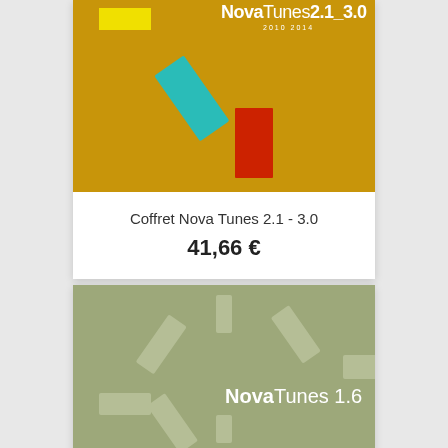[Figure (illustration): Album art for Nova Tunes 2.1-3.0: golden/mustard background with a teal rotated rectangle, a red vertical rectangle, and yellow rectangle in the upper left. Text 'NovaTunes 2.1_3.0' and '2010 2014' in upper right.]
Coffret Nova Tunes 2.1 - 3.0
41,66 €
[Figure (illustration): Album art for Nova Tunes 1.6: olive/sage green background with multiple light-colored rotated rectangular shapes arranged in a clock-like pattern. Text 'NovaTunes 1.6' in white/light, bottom right area.]